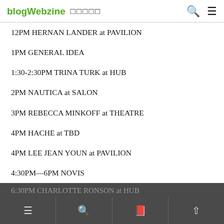blogWebzine □□□□□
12PM HERNAN LANDER at PAVILION
1PM GENERAL IDEA
1:30-2:30PM TRINA TURK at HUB
2PM NAUTICA at SALON
3PM REBECCA MINKOFF at THEATRE
4PM HACHE at TBD
4PM LEE JEAN YOUN at PAVILION
4:30PM—6PM NOVIS
5PM RAG & BONE
6PM NICOLE MILLER at SALON
6:30PM CHARLOTTE RONSON at HUB
☰  🔍  📖  ↑